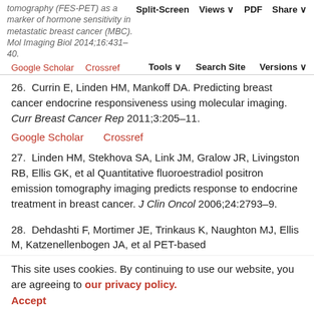tomography (FES-PET) as a marker of hormone sensitivity in metastatic breast cancer (MBC). Mol Imaging Biol 2014;16:431–40. | Split-Screen | Views | PDF | Share | Tools | Search Site | Versions | Google Scholar | Crossref
26. Currin E, Linden HM, Mankoff DA. Predicting breast cancer endocrine responsiveness using molecular imaging. Curr Breast Cancer Rep 2011;3:205–11.
Google Scholar   Crossref
27. Linden HM, Stekhova SA, Link JM, Gralow JR, Livingston RB, Ellis GK, et al Quantitative fluoroestradiol positron emission tomography imaging predicts response to endocrine treatment in breast cancer. J Clin Oncol 2006;24:2793–9.
28. Dehdashti F, Mortimer JE, Trinkaus K, Naughton MJ, Ellis M, Katzenellenbogen JA, et al PET-based
This site uses cookies. By continuing to use our website, you are agreeing to our privacy policy. Accept